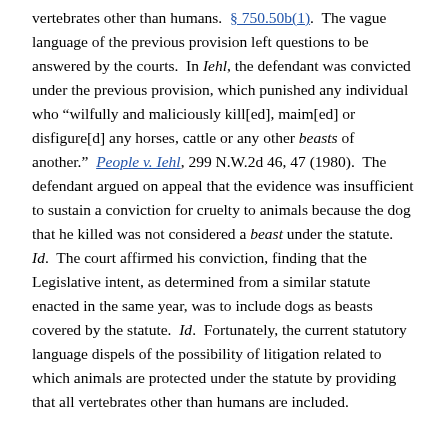vertebrates other than humans. § 750.50b(1). The vague language of the previous provision left questions to be answered by the courts. In Iehl, the defendant was convicted under the previous provision, which punished any individual who "wilfully and maliciously kill[ed], maim[ed] or disfigure[d] any horses, cattle or any other beasts of another." People v. Iehl, 299 N.W.2d 46, 47 (1980). The defendant argued on appeal that the evidence was insufficient to sustain a conviction for cruelty to animals because the dog that he killed was not considered a beast under the statute. Id. The court affirmed his conviction, finding that the Legislative intent, as determined from a similar statute enacted in the same year, was to include dogs as beasts covered by the statute. Id. Fortunately, the current statutory language dispels of the possibility of litigation related to which animals are protected under the statute by providing that all vertebrates other than humans are included.